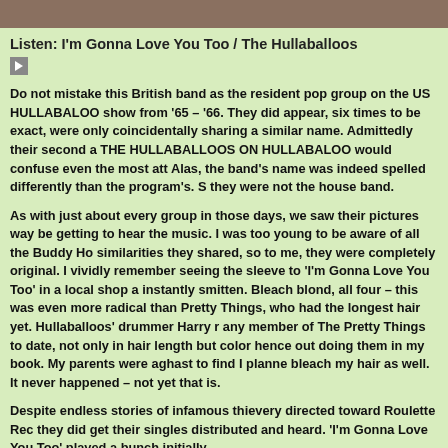[Figure (photo): Top portion of a photo showing people, partially visible at the top of the page]
Listen: I'm Gonna Love You Too / The Hullaballoos
Do not mistake this British band as the resident pop group on the US HULLABALOO show from '65 – '66. They did appear, six times to be exact, were only coincidentally sharing a similar name. Admittedly their second a THE HULLABALLOOS ON HULLABALOO would confuse even the most att Alas, the band's name was indeed spelled differently than the program's. S they were not the house band.
As with just about every group in those days, we saw their pictures way be getting to hear the music. I was too young to be aware of all the Buddy Ho similarities they shared, so to me, they were completely original. I vividly remember seeing the sleeve to 'I'm Gonna Love You Too' in a local shop a instantly smitten. Bleach blond, all four – this was even more radical than Pretty Things, who had the longest hair yet. Hullaballoos' drummer Harry r any member of The Pretty Things to date, not only in hair length but color hence out doing them in my book. My parents were aghast to find I planne bleach my hair as well. It never happened – not yet that is.
Despite endless stories of infamous thievery directed toward Roulette Rec they did get their singles distributed and heard. 'I'm Gonna Love You Too' played a bunch initially.